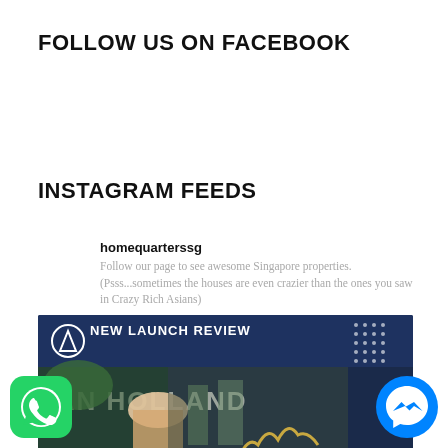FOLLOW US ON FACEBOOK
INSTAGRAM FEEDS
homequarterssg
Follow our page to see awesome Singapore properties. (Psss...sometimes the houses are even crazier than the ones you saw in Crazy Rich Asians)
[Figure (screenshot): Instagram post image showing 'NEW LAUNCH REVIEW VAN HOLLAND' banner with a person's photo, dark blue background with logo and decorative dots]